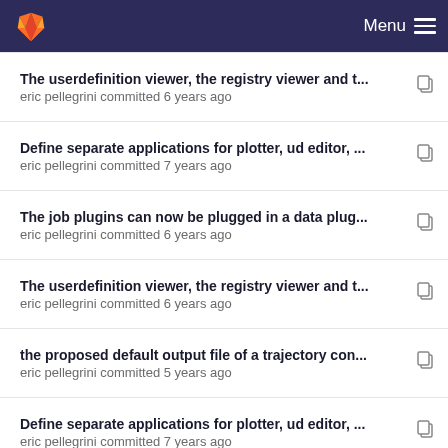GitLab Menu
The userdefinition viewer, the registry viewer and t... eric pellegrini committed 6 years ago
Define separate applications for plotter, ud editor, ... eric pellegrini committed 7 years ago
The job plugins can now be plugged in a data plug... eric pellegrini committed 6 years ago
The userdefinition viewer, the registry viewer and t... eric pellegrini committed 6 years ago
the proposed default output file of a trajectory con... eric pellegrini committed 5 years ago
Define separate applications for plotter, ud editor, ... eric pellegrini committed 7 years ago
Added a stand-alone application for editing the ele... eric pellegrini committed 6 years ago
Define separate applications for plotter, ud editor, ... eric pellegrini committed